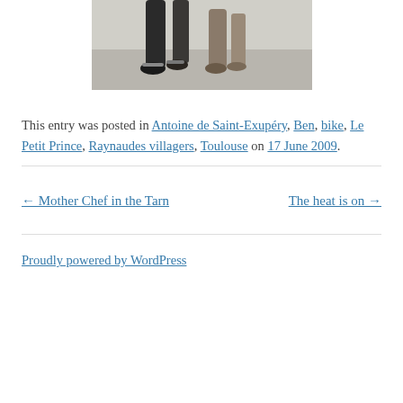[Figure (photo): Partial photo showing legs/feet of people or animals on a gravel/dirt surface, cropped at top]
This entry was posted in Antoine de Saint-Exupéry, Ben, bike, Le Petit Prince, Raynaudes villagers, Toulouse on 17 June 2009.
← Mother Chef in the Tarn    The heat is on →
Proudly powered by WordPress